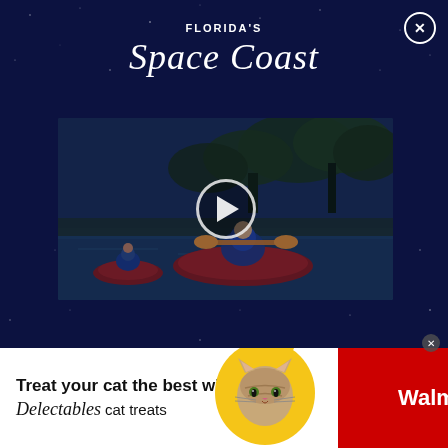FLORIDA'S Space Coast
[Figure (screenshot): Video thumbnail showing people kayaking on a river at dusk with trees in the background and a play button overlay in the center]
[Figure (infographic): Walmart advertisement banner: 'Treat your cat the best with Delectables cat treats' on white background left, cat photo in yellow circle in center, red background with Walmart logo and spark icon on right]
Treat your cat the best with Delectables cat treats
Walmart